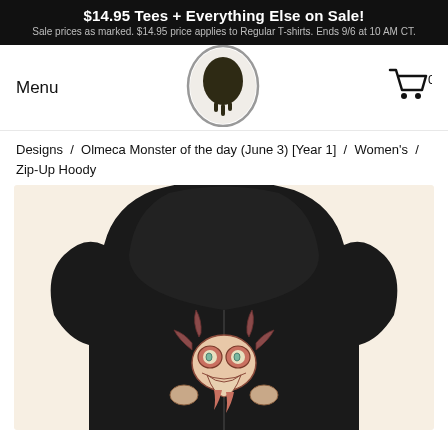$14.95 Tees + Everything Else on Sale! Sale prices as marked. $14.95 price applies to Regular T-shirts. Ends 9/6 at 10 AM CT.
Menu
[Figure (logo): Circular oval logo with dark dripping skull shape on white dotted background]
[Figure (other): Shopping cart icon with 0]
Designs / Olmeca Monster of the day (June 3) [Year 1] / Women's / Zip-Up Hoody
[Figure (photo): Black women's zip-up hoody shown from the back, featuring an Olmeca monster illustration on the back panel]